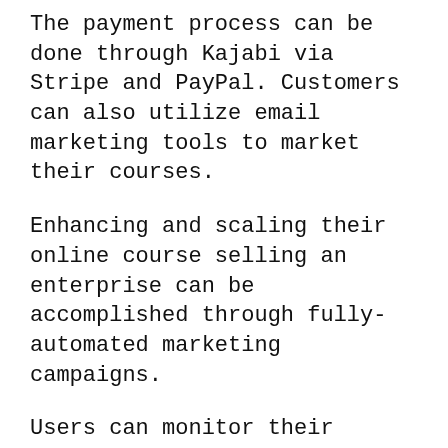The payment process can be done through Kajabi via Stripe and PayPal. Customers can also utilize email marketing tools to market their courses.
Enhancing and scaling their online course selling an enterprise can be accomplished through fully-automated marketing campaigns.
Users can monitor their progress and continue to grow with the built-in analysis tools offered by Kajabi.
Users can use Kajabi to build their own websites that contain all of their courses and other essential information. The website creation process is made easier by using the